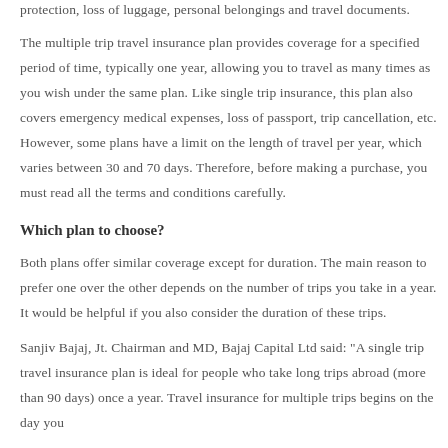protection, loss of luggage, personal belongings and travel documents.
The multiple trip travel insurance plan provides coverage for a specified period of time, typically one year, allowing you to travel as many times as you wish under the same plan. Like single trip insurance, this plan also covers emergency medical expenses, loss of passport, trip cancellation, etc. However, some plans have a limit on the length of travel per year, which varies between 30 and 70 days. Therefore, before making a purchase, you must read all the terms and conditions carefully.
Which plan to choose?
Both plans offer similar coverage except for duration. The main reason to prefer one over the other depends on the number of trips you take in a year. It would be helpful if you also consider the duration of these trips.
Sanjiv Bajaj, Jt. Chairman and MD, Bajaj Capital Ltd said: "A single trip travel insurance plan is ideal for people who take long trips abroad (more than 90 days) once a year. Travel insurance for multiple trips begins on the day you